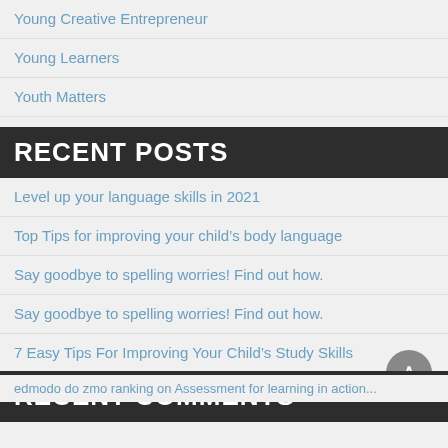Young Creative Entrepreneur
Young Learners
Youth Matters
RECENT POSTS
Level up your language skills in 2021
Top Tips for improving your child's body language
Say goodbye to spelling worries! Find out how.
Say goodbye to spelling worries! Find out how.
7 Easy Tips For Improving Your Child's Study Skills
RECENT COMMENTS
edmodo do zmo ranking on Assessment for learning in action...